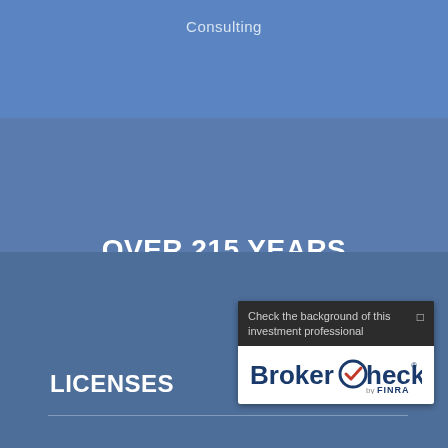Consulting
OVER 215 YEARS COMBINED EXPERIENCE
LICENSES
[Figure (logo): BrokerCheck by FINRA widget with text: Check the background of this investment professional]